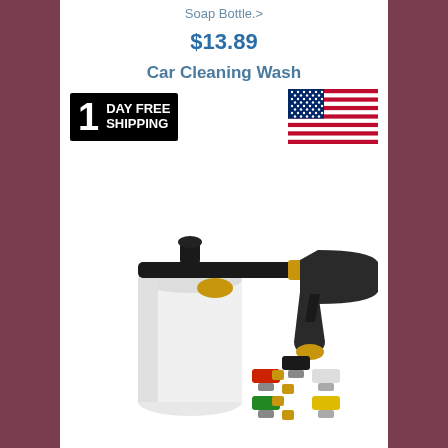Soap Bottle.>
$13.89
Car Cleaning Wash
[Figure (infographic): 1 DAY FREE SHIPPING badge in black and white text on black background, alongside a US flag icon]
[Figure (photo): Car wash foam cannon with white soap bottle, connected to a black pressure washer gun with brass fittings, and five color-coded spray nozzle tips (black, red, white, green, yellow)]